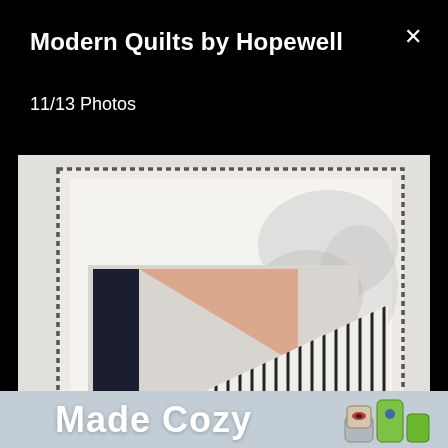Modern Quilts by Hopewell
11/13 Photos
[Figure (photo): A modern quilt with geometric design featuring dark navy, peach/salmon, and black-and-white striped sections, displayed against a wall with a leafy plant shadow backdrop. The quilt has a dashed border edge.]
Made Cozy